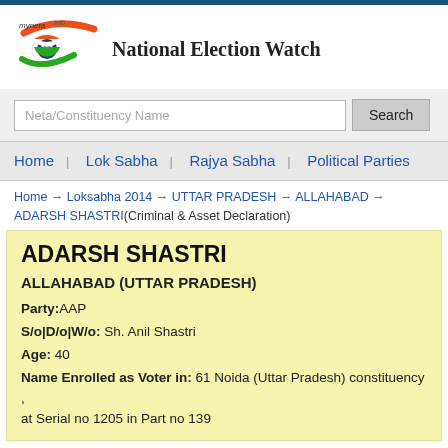[Figure (logo): myneta.info National Election Watch logo with Indian flag colors eye design]
National Election Watch
Neta/Constituency Name [search input] Search
Home  Lok Sabha  Rajya Sabha  Political Parties
Home → Loksabha 2014 → UTTAR PRADESH → ALLAHABAD → ADARSH SHASTRI(Criminal & Asset Declaration)
ADARSH SHASTRI
ALLAHABAD (UTTAR PRADESH)
Party:AAP
S/o|D/o|W/o: Sh. Anil Shastri
Age: 40
Name Enrolled as Voter in: 61 Noida (Uttar Pradesh) constituency , at Serial no 1205 in Part no 139